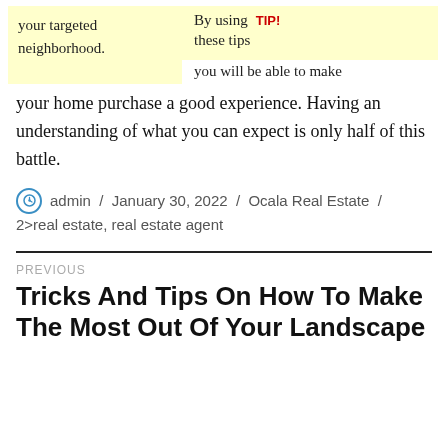your targeted neighborhood.
By using these tips you will be able to make your home purchase a good experience. Having an understanding of what you can expect is only half of this battle.
TIP!
admin / January 30, 2022 / Ocala Real Estate / 2>real estate, real estate agent
PREVIOUS
Tricks And Tips On How To Make The Most Out Of Your Landscape